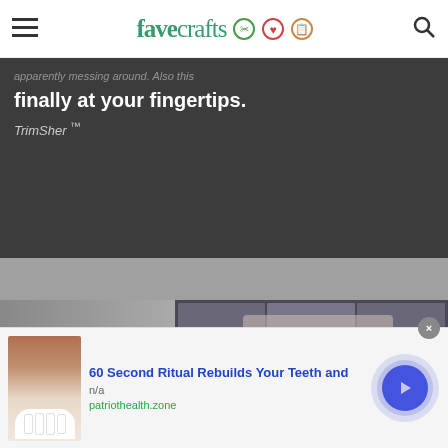favecrafts
finally at your fingertips.
TrimSher ™
[Figure (screenshot): Video thumbnail showing a woman in a white top standing at a table in front of a shelf unit with craft supplies, apparently demonstrating a product. Video player controls visible.]
Why Every Man Over 40 Must Know About This
[Figure (photo): Advertisement image showing a close-up of a person's smiling teeth]
60 Second Ritual Rebuilds Your Teeth and
n/a
patriothealth.zone